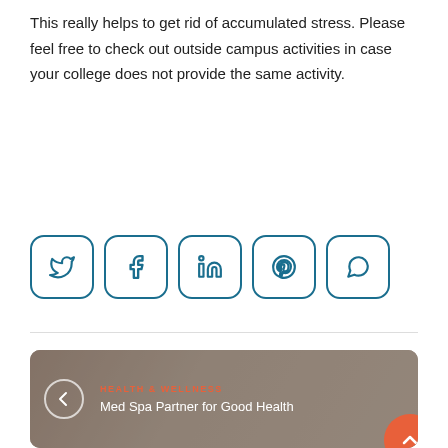This really helps to get rid of accumulated stress. Please feel free to check out outside campus activities in case your college does not provide the same activity.
[Figure (infographic): Row of five social media share buttons with rounded square borders in teal/dark blue: Twitter (bird), Facebook (f), LinkedIn (in), Pinterest (P), WhatsApp (phone)]
[Figure (photo): Article card with background photo of a woman at a spa, orange category label HEALTH & WELLNESS, title Med Spa Partner for Good Health, left arrow navigation button, orange scroll-to-top button]
[Figure (photo): Partial article card with flowers/chamomile background, orange category label BEAUTY, HEALTH & WELLNESS partially visible at bottom]